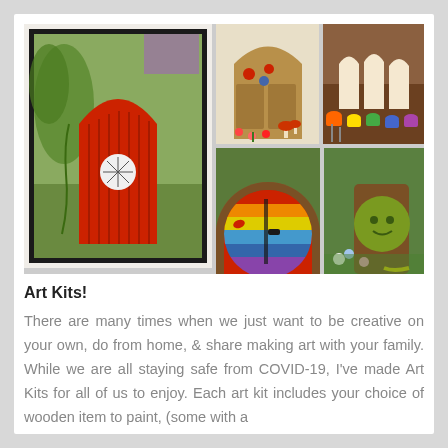[Figure (photo): Collage of five photos showing painted fairy doors: a red arched wooden door with circular window, a brown double fairy door with mushroom/ladybug decorations, unpainted white wooden door shapes with paint cups and brushes, a rainbow-striped round fairy door, and a green circular fairy door built into a tree trunk outdoors.]
Art Kits!
There are many times when we just want to be creative on your own, do from home, & share making art with your family. While we are all staying safe from COVID-19, I've made Art Kits for all of us to enjoy. Each art kit includes your choice of wooden item to paint, (some with a